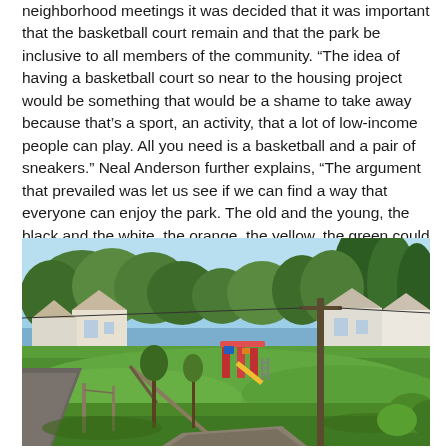neighborhood meetings it was decided that it was important that the basketball court remain and that the park be inclusive to all members of the community.  “The idea of having a basketball court so near to the housing project would be something that would be a shame to take away because that’s a sport, an activity, that a lot of low-income people can play.  All you need is a basketball and a pair of sneakers.”  Neal Anderson further explains, “The argument that prevailed was let us see if we can find a way that everyone can enjoy the park.  The old and the young, the black and the white, the orange, the yellow, the green could all enjoy the park together.  I think we’ve struck that balance.”
[Figure (photo): Outdoor park scene showing a green grassy area with trees, a playground with colorful equipment in the background, residential houses visible behind the trees, a paved path on the left, a utility pole on the right, and a clear blue sky.]